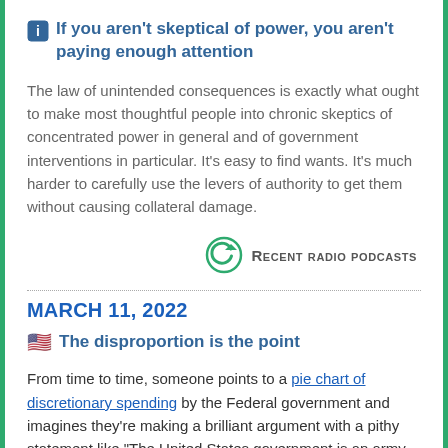If you aren't skeptical of power, you aren't paying enough attention
The law of unintended consequences is exactly what ought to make most thoughtful people into chronic skeptics of concentrated power in general and of government interventions in particular. It's easy to find wants. It's much harder to carefully use the levers of authority to get them without causing collateral damage.
[Figure (logo): Green circular arrow icon next to 'Recent radio podcasts' label]
MARCH 11, 2022
The disproportion is the point
From time to time, someone points to a pie chart of discretionary spending by the Federal government and imagines they're making a brilliant argument with a pithy statement like "The United States government is an army